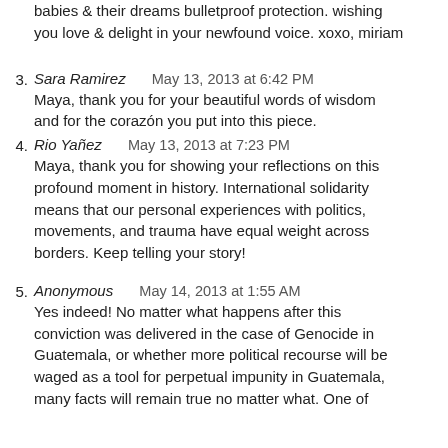babies & their dreams bulletproof protection. wishing you love & delight in your newfound voice. xoxo, miriam
3. Sara Ramirez   May 13, 2013 at 6:42 PM
Maya, thank you for your beautiful words of wisdom and for the corazón you put into this piece.
4. Rio Yañez   May 13, 2013 at 7:23 PM
Maya, thank you for showing your reflections on this profound moment in history. International solidarity means that our personal experiences with politics, movements, and trauma have equal weight across borders. Keep telling your story!
5. Anonymous   May 14, 2013 at 1:55 AM
Yes indeed! No matter what happens after this conviction was delivered in the case of Genocide in Guatemala, or whether more political recourse will be waged as a tool for perpetual impunity in Guatemala, many facts will remain true no matter what. One of